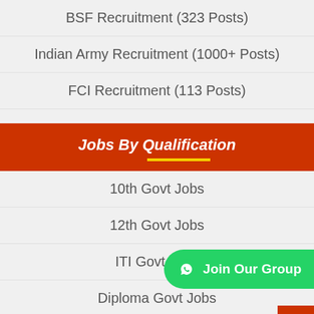BSF Recruitment (323 Posts)
Indian Army Recruitment (1000+ Posts)
FCI Recruitment (113 Posts)
Jobs By Qualification
10th Govt Jobs
12th Govt Jobs
ITI Govt Jobs
Diploma Govt Jobs
Degree Govt Jobs
Engineering Govt Jobs